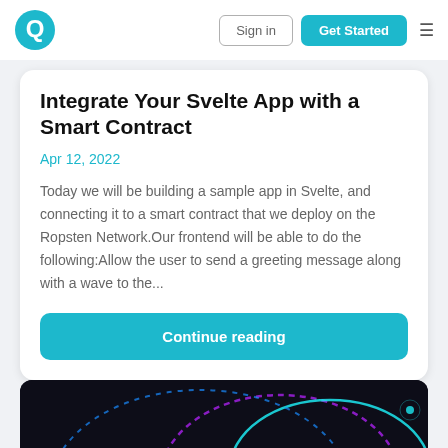Sign in | Get Started
Integrate Your Svelte App with a Smart Contract
Apr 12, 2022
Today we will be building a sample app in Svelte, and connecting it to a smart contract that we deploy on the Ropsten Network.Our frontend will be able to do the following:Allow the user to send a greeting message along with a wave to the...
Continue reading
[Figure (illustration): Dark background with colorful arc/curve lines suggesting a tech/blockchain decorative illustration]